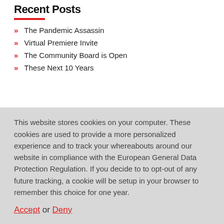Recent Posts
The Pandemic Assassin
Virtual Premiere Invite
The Community Board is Open
These Next 10 Years
This website stores cookies on your computer. These cookies are used to provide a more personalized experience and to track your whereabouts around our website in compliance with the European General Data Protection Regulation. If you decide to to opt-out of any future tracking, a cookie will be setup in your browser to remember this choice for one year.
Accept or Deny